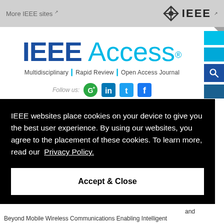More IEEE sites  [external link icon]
[Figure (logo): IEEE diamond logo with IEEE text in top navigation bar]
[Figure (logo): IEEE Access logo - 'IEEE' in dark blue bold, 'Access' in light blue, registered trademark symbol, with tagline: Multidisciplinary | Rapid Review | Open Access Journal]
Multidisciplinary | Rapid Review | Open Access Journal
Follow us:
IEEE websites place cookies on your device to give you the best user experience. By using our websites, you agree to the placement of these cookies. To learn more, read our Privacy Policy.
Accept & Close
and Beyond Mobile Wireless Communications Enabling Intelligent